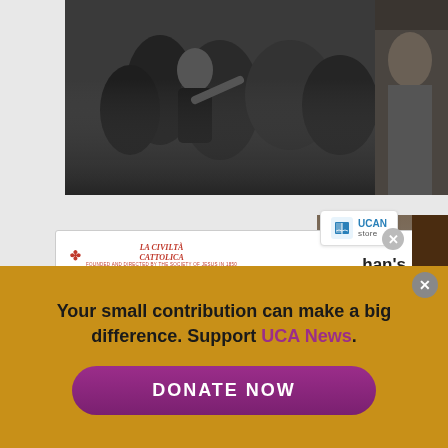[Figure (photo): Crowd photo at the top — people gathered, man in dark jacket pointing]
[Figure (illustration): UCAN Store advertisement card showing La Civilta Cattolica ebook 'The Pontificate' with St. Peter's Basilica dome]
han's
SPECIAL EBOOK
Your small contribution can make a big difference. Support UCA News.
DONATE NOW